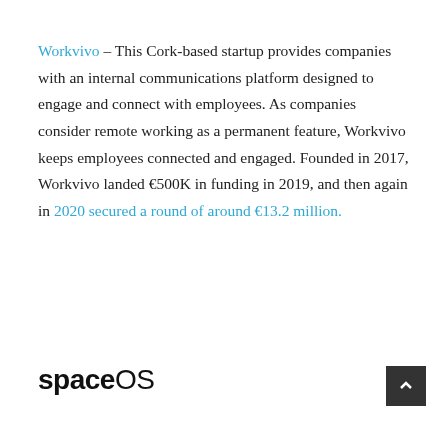Workvivo – This Cork-based startup provides companies with an internal communications platform designed to engage and connect with employees. As companies consider remote working as a permanent feature, Workvivo keeps employees connected and engaged. Founded in 2017, Workvivo landed €500K in funding in 2019, and then again in 2020 secured a round of around €13.2 million.
[Figure (logo): spaceOS logo in bold black sans-serif text]